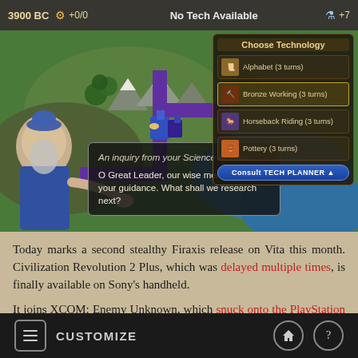[Figure (screenshot): Screenshot of Civilization Revolution 2 Plus mobile game showing a 3900 BC era map with Choose Technology panel listing Alphabet (3 turns), Bronze Working (3 turns), Horseback Riding (3 turns), and Pottery (3 turns). An advisor dialog reads: 'An inquiry from your Science Advisor.. O Great Leader, our wise men require your guidance. What shall we research next?' A Consult TECH PLANNER button is visible.]
Today marks a second stealthy Firaxis release on Vita this month. Civilization Revolution 2 Plus, which was delayed multiple times, is finally available on Sony's handheld.
It joins XCOM: Enemy Unknown, which snuck onto the PlayStation Store last week. Civilization Revolution 2 Plus is a port of the 2014 mobile game.
CUSTOMIZE